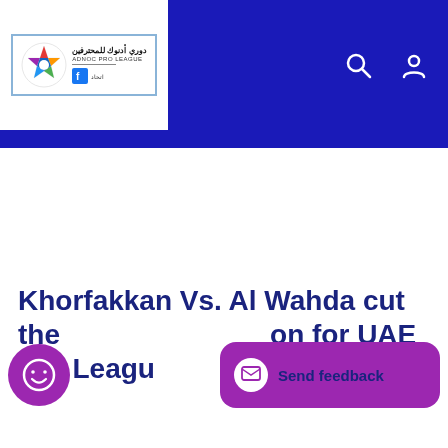[Figure (logo): ADNOC Pro League logo with colorful soccer ball icon and Arabic/English text, on white background with blue border]
ADNOC PRO LEAGUE website header with navigation bar, search and user icons on dark blue background
Khorfakkan Vs. Al Wahda cut the on for UAE Pro League round